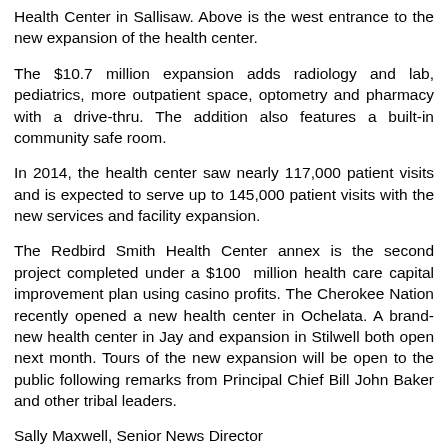Health Center in Sallisaw. Above is the west entrance to the new expansion of the health center.
The $10.7 million expansion adds radiology and lab, pediatrics, more outpatient space, optometry and pharmacy with a drive-thru. The addition also features a built-in community safe room.
In 2014, the health center saw nearly 117,000 patient visits and is expected to serve up to 145,000 patient visits with the new services and facility expansion.
The Redbird Smith Health Center annex is the second project completed under a $100 million health care capital improvement plan using casino profits. The Cherokee Nation recently opened a new health center in Ochelata. A brand-new health center in Jay and expansion in Stilwell both open next month. Tours of the new expansion will be open to the public following remarks from Principal Chief Bill John Baker and other tribal leaders.
Sally Maxwell, Senior News Director